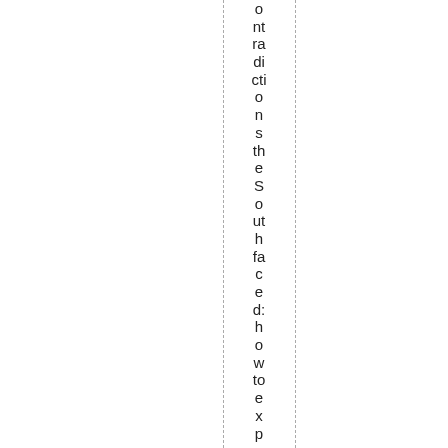contradictions the South faced: how to expand indi